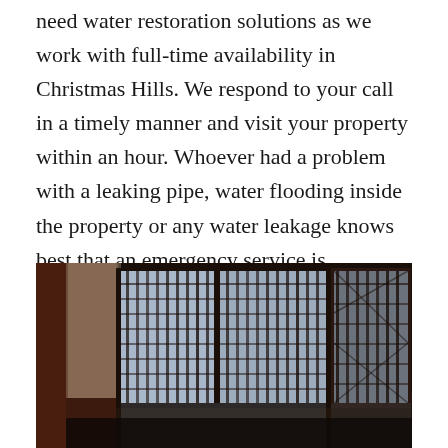need water restoration solutions as we work with full-time availability in Christmas Hills. We respond to your call in a timely manner and visit your property within an hour. Whoever had a problem with a leaking pipe, water flooding inside the property or any water leakage knows best that an emergency service is especially crucial if you wish to bring back your carpets’ state.
[Figure (photo): Interior room photo showing ornate latticed windows with strong backlight, dark silhouetted window frames with geometric patterns, sheer curtains, and a reflective floor surface. The scene is dimly lit with light coming through the decorative windows.]